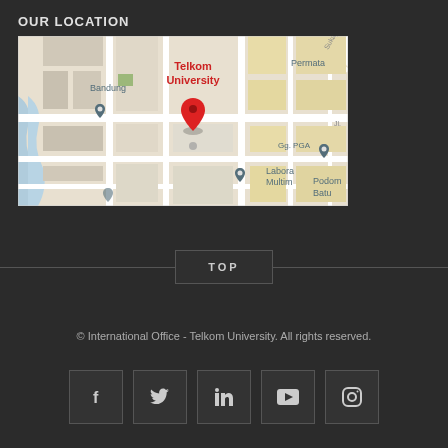OUR LOCATION
[Figure (map): Google Maps screenshot showing Telkom University location in Bandung, Indonesia. A red map pin marks Telkom University. Other visible labels include Bandung, Permata, Gg. PGA, Labora Multim, and Podom Batu.]
TOP
© International Office - Telkom University. All rights reserved.
[Figure (other): Social media icon buttons: Facebook, Twitter, LinkedIn, YouTube, Instagram]